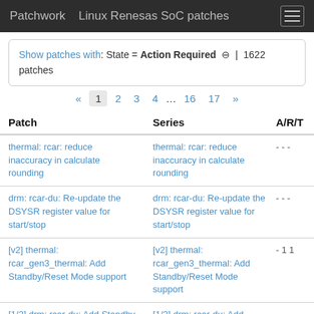Patchwork   Linux Renesas SoC patches
Show patches with: State = Action Required ⊖ | 1622 patches
« 1 2 3 4 ... 16 17 »
| Patch | Series | A/R/T |
| --- | --- | --- |
| thermal: rcar: reduce inaccuracy in calculate rounding | thermal: rcar: reduce inaccuracy in calculate rounding | - - - |
| drm: rcar-du: Re-update the DSYSR register value for start/stop | drm: rcar-du: Re-update the DSYSR register value for start/stop | - - - |
| [v2] thermal: rcar_gen3_thermal: Add Standby/Reset Mode support | [v2] thermal: rcar_gen3_thermal: Add Standby/Reset Mode support | - 1 1 |
| [1/2] drm: rcar-du: Add Standby | [1/2] drm: rcar-du: Add |  |